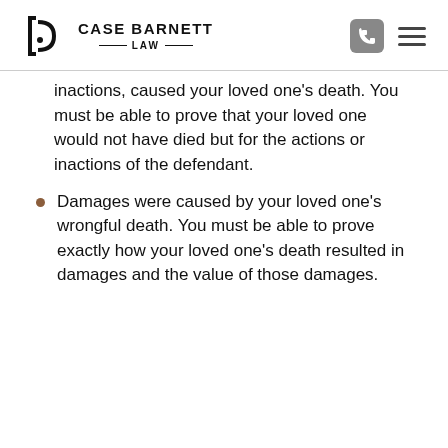[Figure (logo): Case Barnett Law logo with stylized 'cb' icon and text]
inactions, caused your loved one’s death. You must be able to prove that your loved one would not have died but for the actions or inactions of the defendant.
Damages were caused by your loved one’s wrongful death. You must be able to prove exactly how your loved one’s death resulted in damages and the value of those damages.